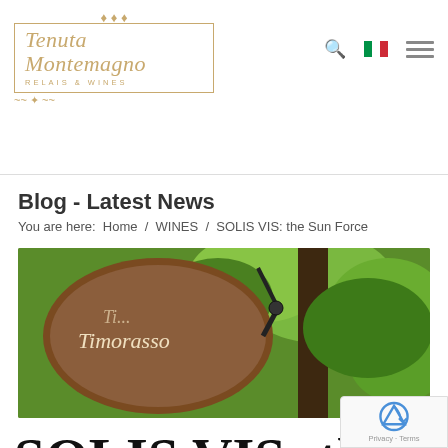[Figure (logo): Tenuta Montemagno Relais & Wines logo with decorative script text and ornamental border]
Blog - Latest News
You are here:  Home  /  WINES  /  SOLIS VIS: the Sun Force
[Figure (photo): Vineyard photo showing a wooden oval sign reading Timorasso in cursive, with grapevines and tree in background]
SOLIS VIS: the Sun Force